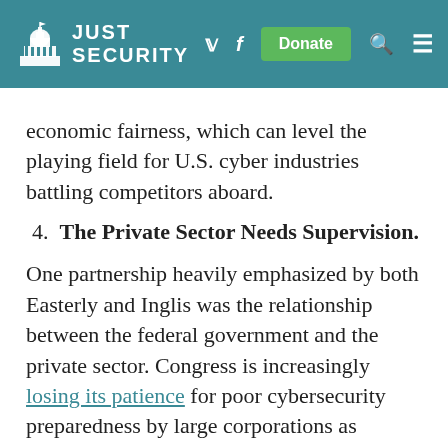JUST SECURITY
economic fairness, which can level the playing field for U.S. cyber industries battling competitors aboard.
4.  The Private Sector Needs Supervision.
One partnership heavily emphasized by both Easterly and Inglis was the relationship between the federal government and the private sector. Congress is increasingly losing its patience for poor cybersecurity preparedness by large corporations as hackers continue to exploit these vulnerabilities to attack critical infrastructure in the United